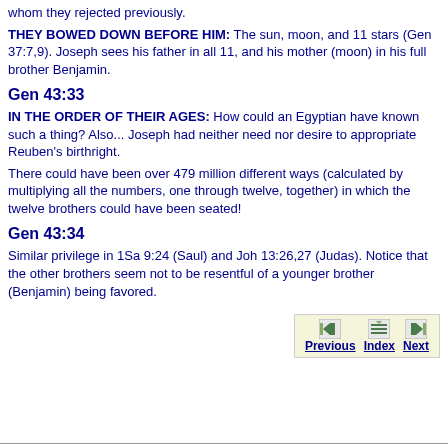whom they rejected previously.
THEY BOWED DOWN BEFORE HIM: The sun, moon, and 11 stars (Gen 37:7,9). Joseph sees his father in all 11, and his mother (moon) in his full brother Benjamin.
Gen 43:33
IN THE ORDER OF THEIR AGES: How could an Egyptian have known such a thing? Also... Joseph had neither need nor desire to appropriate Reuben's birthright.
There could have been over 479 million different ways (calculated by multiplying all the numbers, one through twelve, together) in which the twelve brothers could have been seated!
Gen 43:34
Similar privilege in 1Sa 9:24 (Saul) and Joh 13:26,27 (Judas). Notice that the other brothers seem not to be resentful of a younger brother (Benjamin) being favored.
[Figure (other): Navigation bar with Previous, Index, and Next buttons with small icons, on a light yellow background]